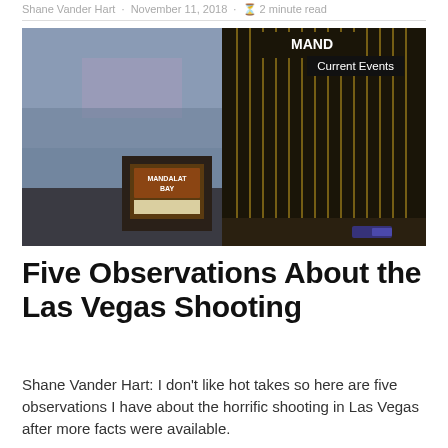Shane Vander Hart · November 11, 2018 · 2 minute read
[Figure (photo): Night photo of the Mandalay Bay hotel and casino in Las Vegas, showing the illuminated sign and the tall dark tower facade with vertical gold stripes]
Current Events
Five Observations About the Las Vegas Shooting
Shane Vander Hart: I don't like hot takes so here are five observations I have about the horrific shooting in Las Vegas after more facts were available.